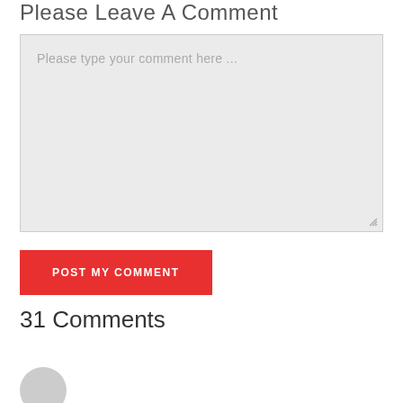Please Leave A Comment
Please type your comment here ...
POST MY COMMENT
31 Comments